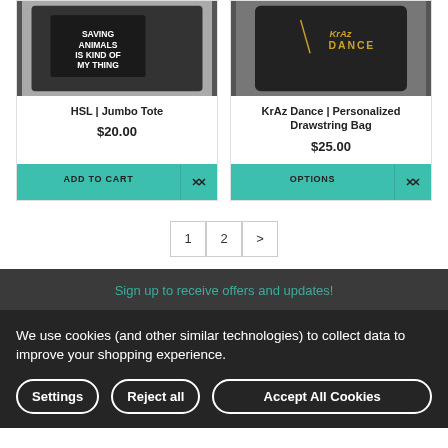[Figure (photo): Black tote bag with white text graphic reading 'SAVING ANIMALS IS KIND OF MY THING']
HSL | Jumbo Tote
$20.00
ADD TO CART
[Figure (photo): Black drawstring bag with gold KrAz Dance logo]
KrAz Dance | Personalized Drawstring Bag
$25.00
OPTIONS
1  2  >
Sign up to receive offers and updates!
We use cookies (and other similar technologies) to collect data to improve your shopping experience.
Settings
Reject all
Accept All Cookies